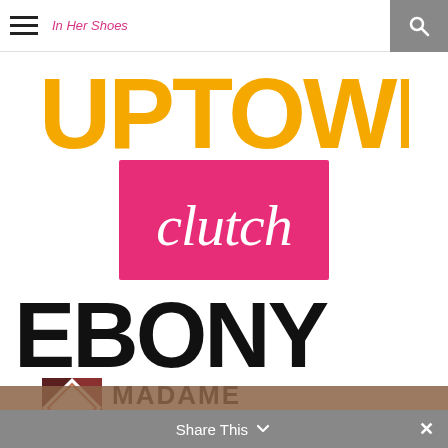In Her Shoes
[Figure (logo): UPTOWN magazine logo in bold orange/yellow capital letters]
[Figure (logo): Clutch magazine logo - white script text on hot pink/magenta square background]
[Figure (logo): EBONY magazine logo in large bold black capital letters]
[Figure (logo): MadameNoire logo with geometric dark red/maroon diamond pattern icon and stylized text]
Share This ×